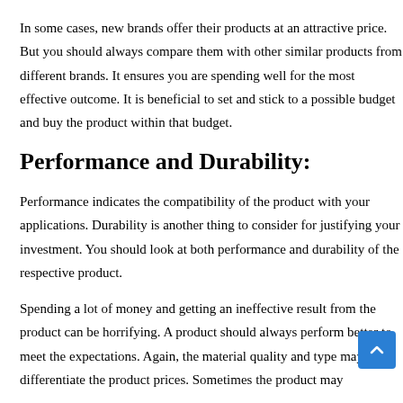In some cases, new brands offer their products at an attractive price. But you should always compare them with other similar products from different brands. It ensures you are spending well for the most effective outcome. It is beneficial to set and stick to a possible budget and buy the product within that budget.
Performance and Durability:
Performance indicates the compatibility of the product with your applications. Durability is another thing to consider for justifying your investment. You should look at both performance and durability of the respective product.
Spending a lot of money and getting an ineffective result from the product can be horrifying. A product should always perform better to meet the expectations. Again, the material quality and type may also differentiate the product prices. Sometimes the product may